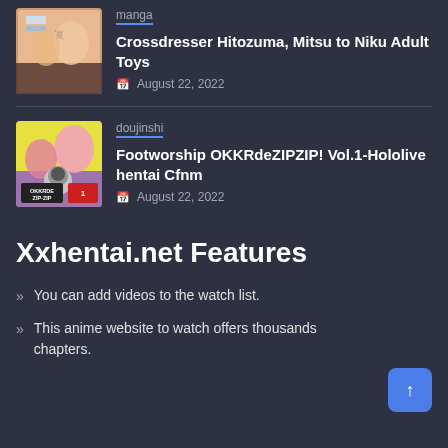manga
Crossdresser Hitozuma, Mitsu to Niku Adult Toys
August 22, 2022
[Figure (illustration): Manga cover thumbnail for Crossdresser Hitozuma]
doujinshi
Footworship OKKRdeZIPZIP! Vol.1-Hololive hentai Cfnm
August 22, 2022
[Figure (illustration): Doujinshi cover thumbnail for Footworship OKKRdeZIPZIP with characters and OKKRDE ZIP-ZIP text]
Xxhentai.net Features
You can add videos to the watch list.
This anime website to watch offers thousands chapters.